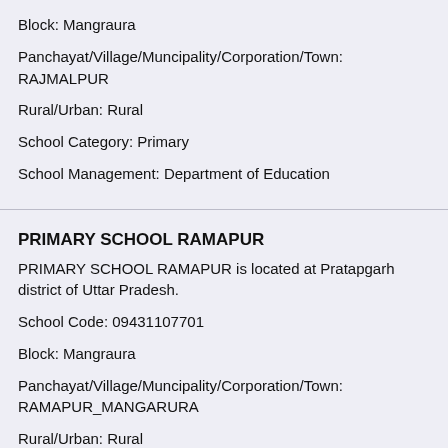Block: Mangraura
Panchayat/Village/Muncipality/Corporation/Town: RAJMALPUR
Rural/Urban: Rural
School Category: Primary
School Management: Department of Education
PRIMARY SCHOOL RAMAPUR
PRIMARY SCHOOL RAMAPUR is located at Pratapgarh district of Uttar Pradesh.
School Code: 09431107701
Block: Mangraura
Panchayat/Village/Muncipality/Corporation/Town: RAMAPUR_MANGARURA
Rural/Urban: Rural